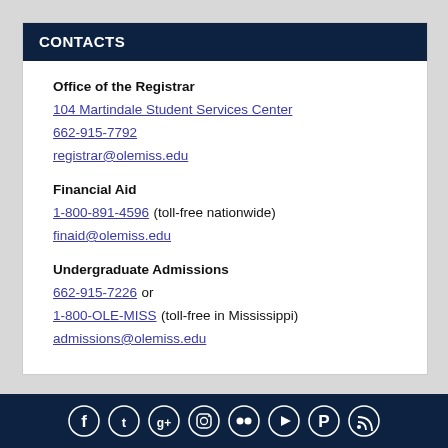CONTACTS
Office of the Registrar
104 Martindale Student Services Center
662-915-7792
registrar@olemiss.edu
Financial Aid
1-800-891-4596 (toll-free nationwide)
finaid@olemiss.edu
Undergraduate Admissions
662-915-7226 or
1-800-OLE-MISS (toll-free in Mississippi)
admissions@olemiss.edu
[Figure (infographic): Social media icons footer bar with Facebook, Twitter, Google+, Instagram, Flickr, YouTube, Pinterest, RSS icons on dark navy background]